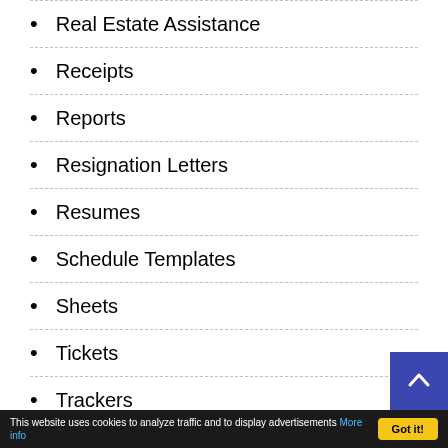Real Estate Assistance
Receipts
Reports
Resignation Letters
Resumes
Schedule Templates
Sheets
Tickets
Trackers
This website uses cookies to analyze traffic and to display advertisements More info  Got it!